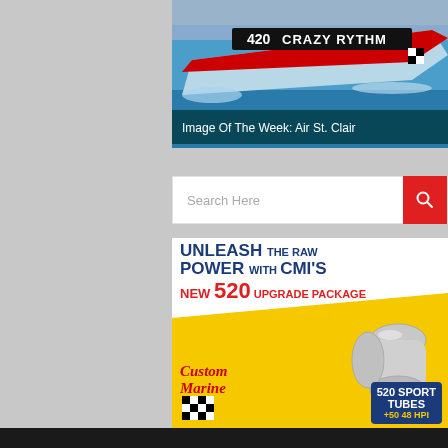[Figure (photo): Racing powerboat number 420 named 'Crazy Rythm' speeding on water with spectators in background]
Image Of The Week: Air St. Clair
[Figure (screenshot): Search bar with placeholder text 'Search Here' and a red search button with magnifying glass icon]
[Figure (infographic): Custom Marine advertisement: UNLEASH THE RAW POWER WITH CMI'S NEW 520 UPGRADE PACKAGE - 520 SPORT TUBES. Yellow and white background with chrome exhaust tubes image.]